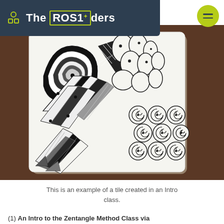The ROS1ders
[Figure (photo): A Zentangle tile artwork featuring intricate black and white patterns including spirals, woven ribbons, organic bubble shapes, and geometric cross-hatch sections on white paper, placed on a wooden surface.]
This is an example of a tile created in an Intro class.
(1) An Intro to the Zentangle Method Class via